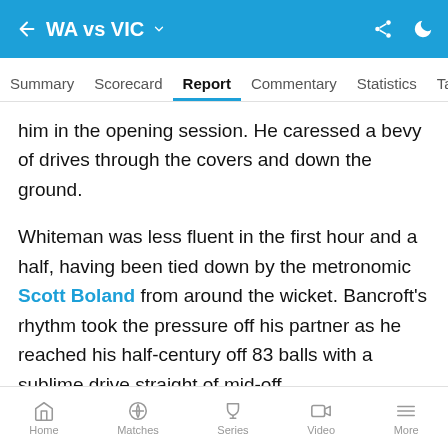WA vs VIC
Summary  Scorecard  Report  Commentary  Statistics  Table
him in the opening session. He caressed a bevy of drives through the covers and down the ground.
Whiteman was less fluent in the first hour and a half, having been tied down by the metronomic Scott Boland from around the wicket. Bancroft's rhythm took the pressure off his partner as he reached his half-century off 83 balls with a sublime drive straight of mid-off.
Whiteman's innings was sparked when Merlo's medium pace was introduced. He dropped short twice in two balls, and the left-hander unfurled two dismissive pull
Home  Matches  Series  Video  More